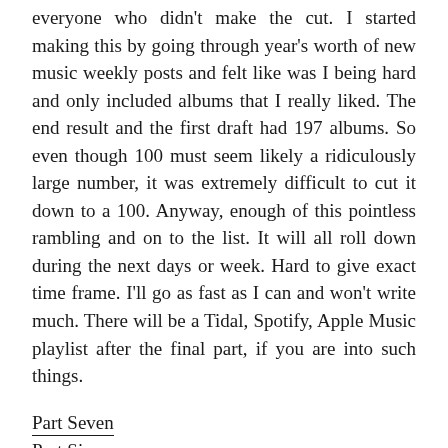everyone who didn't make the cut. I started making this by going through year's worth of new music weekly posts and felt like was I being hard and only included albums that I really liked. The end result and the first draft had 197 albums. So even though 100 must seem likely a ridiculously large number, it was extremely difficult to cut it down to a 100. Anyway, enough of this pointless rambling and on to the list. It will all roll down during the next days or week. Hard to give exact time frame. I'll go as fast as I can and won't write much. There will be a Tidal, Spotify, Apple Music playlist after the final part, if you are into such things.
Part Seven
Part Six